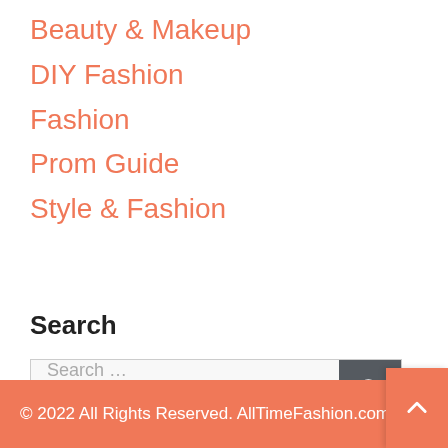Beauty & Makeup
DIY Fashion
Fashion
Prom Guide
Style & Fashion
Search
Search …
© 2022 All Rights Reserved. AllTimeFashion.com